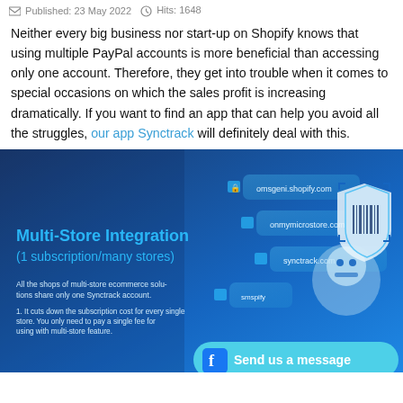Published: 23 May 2022   Hits: 1648
Neither every big business nor start-up on Shopify knows that using multiple PayPal accounts is more beneficial than accessing only one account. Therefore, they get into trouble when it comes to special occasions on which the sales profit is increasing dramatically. If you want to find an app that can help you avoid all the struggles, our app Synctrack will definitely deal with this.
[Figure (illustration): Promotional image for Synctrack app showing Multi-Store Integration (1 subscription/many stores) with blue background, UI elements, a robot, and a barcode shield icon. Text overlay includes: 'All the shops of multi-store ecommerce solutions share only one Synctrack account.' and '1. It cuts down the subscription cost for every single store. You only need to pay a single fee for using with multi-store feature.' A blue Facebook messenger button saying 'Send us a message' appears in the bottom right.]